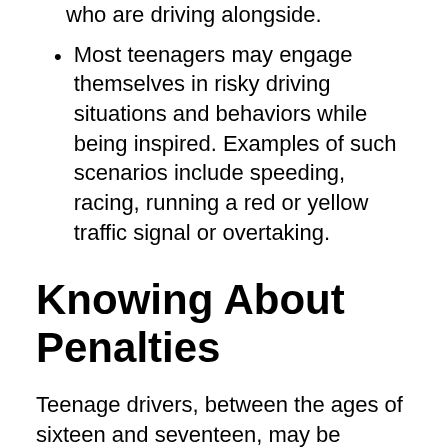who are driving alongside.
Most teenagers may engage themselves in risky driving situations and behaviors while being inspired. Examples of such scenarios include speeding, racing, running a red or yellow traffic signal or overtaking.
Knowing About Penalties
Teenage drivers, between the ages of sixteen and seventeen, may be charged with a fine of $75 for not wearing a seat belt. However, if you are 17 years old and you commit certain speeding or moving violations, then the driving license would be seized by the police officer. This may also include a